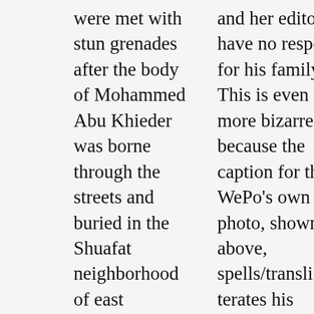were met with stun grenades after the body of Mohammed Abu Khieder was borne through the streets and buried in the Shuafat neighborhood of east Jerusalem."
and her editors have no respect for his family? This is even more bizarre because the caption for the WePo's own photo, shown above, spells/transliterates his family name much more accurately, as